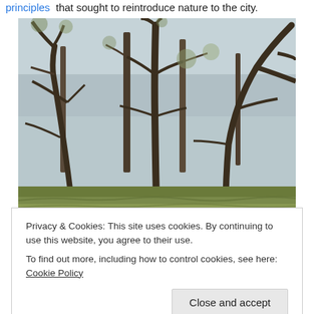principles that sought to reintroduce nature to the city.
[Figure (photo): Photograph of bare winter trees with dark branches against a pale sky, with some early green foliage visible at the bottom and on some branches.]
Privacy & Cookies: This site uses cookies. By continuing to use this website, you agree to their use.
To find out more, including how to control cookies, see here: Cookie Policy
Close and accept
[Figure (photo): Bottom strip of a photograph showing green foliage or ground cover.]